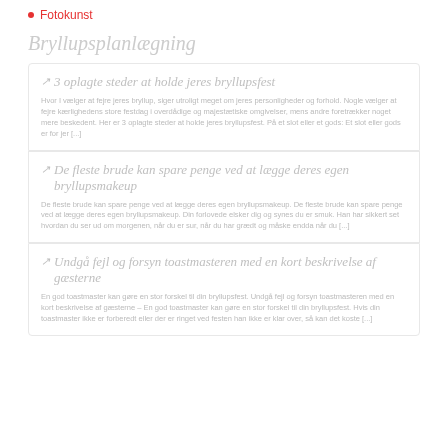Fotokunst
Bryllupsplanlægning
3 oplag te steder at holde jeres bryllupsfest
Hvor I vælger at fejre jeres bryllup, siger utroligt meget om jeres personligheder og forhold. Nogle vælger at fejre kærlighedens store festdag i overdådige og majestætiske omgivelser, mens andre foretrækker noget mere beskedent. Her er 3 oplag te steder at holde jeres bryllupsfest. På et slot eller et gods: Et slot eller gods er for jer [...]
De fleste brude kan spare penge ved at lægge deres egen bryllupsmakeup
De fleste brude kan spare penge ved at lægge deres egen bryllupsmakeup. De fleste brude kan spare penge ved at lægge deres egen bryllupsmakeup. Din forlovede elsker dig og synes du er smuk. Han har sikkert set hvordan du ser ud om morgenen, når du er sur, når du har grædt og måske endda når du [...]
Undgå fejl og forsyn toastmasteren med en kort beskrivelse af gæsterne
En god toastmaster kan gøre en stor forskel til din bryllupsfest. Undgå fejl og forsyn toastmasteren med en kort beskrivelse af gæsterne – En god toastmaster kan gøre en stor forskel til din bryllupsfest. Hvis din toastmaster ikke er forberedt eller der er ringet ved festen han ikke er klar over, så kan det koste [...]